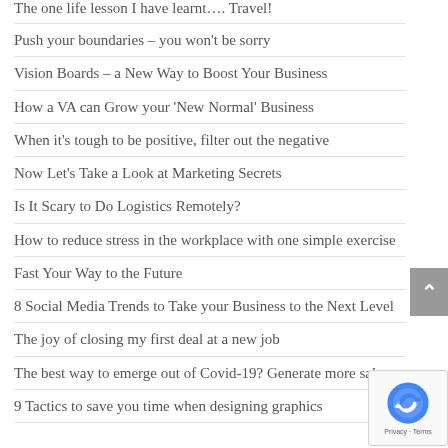The one life lesson I have learnt…. Travel!
Push your boundaries – you won't be sorry
Vision Boards – a New Way to Boost Your Business
How a VA can Grow your 'New Normal' Business
When it's tough to be positive, filter out the negative
Now Let's Take a Look at Marketing Secrets
Is It Scary to Do Logistics Remotely?
How to reduce stress in the workplace with one simple exercise
Fast Your Way to the Future
8 Social Media Trends to Take your Business to the Next Level
The joy of closing my first deal at a new job
The best way to emerge out of Covid-19? Generate more sales
9 Tactics to save you time when designing graphics